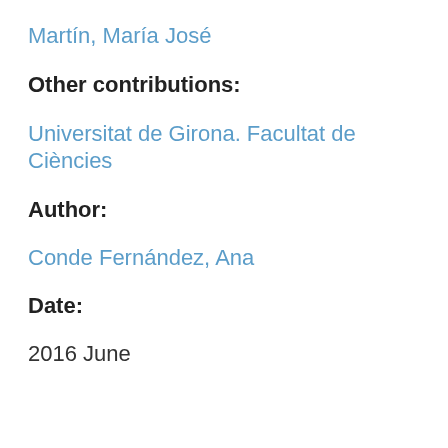Martín, María José
Other contributions:
Universitat de Girona. Facultat de Ciències
Author:
Conde Fernández, Ana
Date:
2016 June